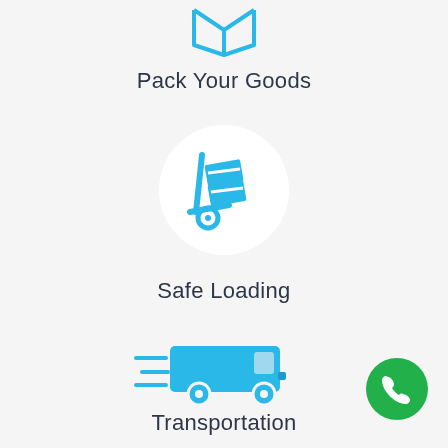[Figure (illustration): Blue box/package icon (partially visible at top)]
Pack Your Goods
[Figure (illustration): Blue hand truck / dolly with boxes icon]
Safe Loading
[Figure (illustration): Blue delivery van with speed lines icon]
Transportation
[Figure (illustration): Green circular phone/call button in bottom-right corner]